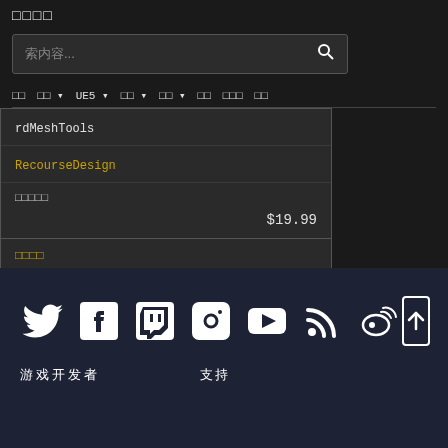□□□□
索内容...
□□ □□ UE5 □□ □□ □□ □□□ □□
rdMeshTools
RecourseDesign
□□□□□
$19.99
□□□□
[Figure (infographic): Social media icons row: Twitter, Facebook, Twitch, Instagram, YouTube, RSS, Weibo, and a back-to-top button]
游戏开发者　　支持